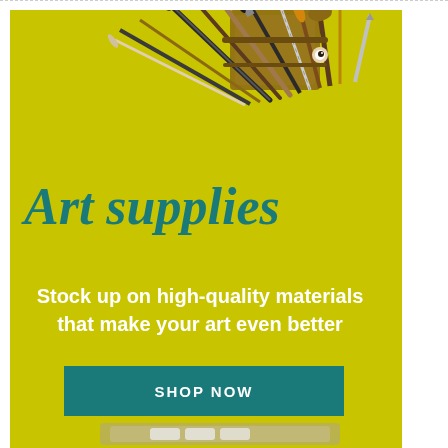[Figure (illustration): Yellow/olive background banner ad for art supplies. Top portion shows paint brushes and art tools in a case against yellow background. Bottom portion shows an open metal tin with white paint tubes. Center has script title 'Art supplies' in teal, tagline text in white, and a teal 'SHOP NOW' button.]
Art supplies
Stock up on high-quality materials that make your art even better
SHOP NOW